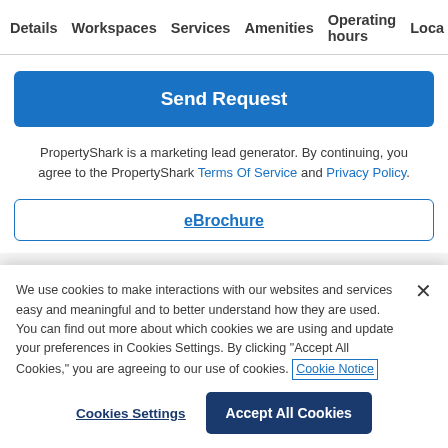Details  Workspaces  Services  Amenities  Operating hours  Loca
Send Request
PropertyShark is a marketing lead generator. By continuing, you agree to the PropertyShark Terms Of Service and Privacy Policy.
eBrochure
We use cookies to make interactions with our websites and services easy and meaningful and to better understand how they are used. You can find out more about which cookies we are using and update your preferences in Cookies Settings. By clicking "Accept All Cookies," you are agreeing to our use of cookies. Cookie Notice
Cookies Settings
Accept All Cookies